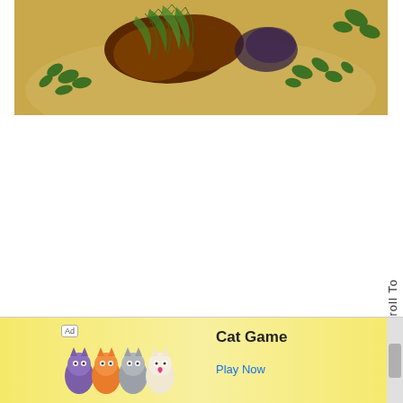[Figure (photo): Close-up food photograph showing roasted or braised meat garnished with fresh dill, thyme, and other green herbs on a plate with warm golden/tan background]
Scroll To
[Figure (screenshot): Advertisement banner for Cat Game mobile app showing cartoon cats, orange cat character, text 'Ad', 'Cat Game', and 'Play Now' button in blue]